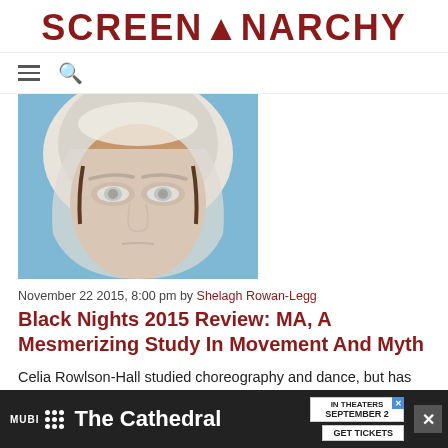SCREENANARCHY
[Figure (photo): Close-up of a woman wearing a white hood/veil, staring intensely at camera against a blue sky background]
November 22 2015, 8:00 pm by Shelagh Rowan-Legg
Black Nights 2015 Review: MA, A Mesmerizing Study In Movement And Myth
Celia Rowlson-Hall studied choreography and dance, but has turned her considerable talents in those areas to film and video, and her first feature-length film Ma is a experimental wonder, a strange...
[Figure (screenshot): MUBI advertisement banner: The Cathedral - In Theaters September 2 - Get Tickets]